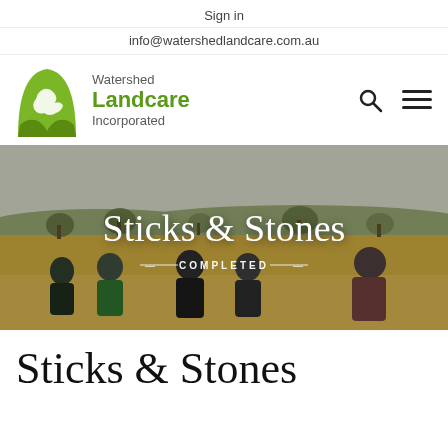Sign in
info@watershedlandcare.com.au
[Figure (logo): Watershed Landcare Incorporated logo with green stylized map of Australia held by two hands, with text 'Watershed Landcare Incorporated' and navigation icons (search and hamburger menu)]
[Figure (photo): Hero banner photo of a group of five people standing in a dry paddock/field with sparse trees and hills in background, with overlay text 'Sticks & Stones' and '— COMPLETED —']
Sticks & Stones